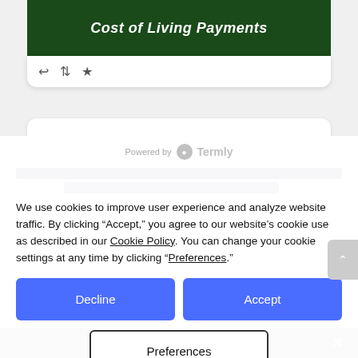[Figure (screenshot): Dark green banner with white bold italic text reading 'Cost of Living Payments']
↩ ↻ ★
Powered by Termly
We use cookies to improve user experience and analyze website traffic. By clicking "Accept," you agree to our website's cookie use as described in our Cookie Policy. You can change your cookie settings at any time by clicking "Preferences."
Decline
Accept
Preferences
Share This ∨  ✕